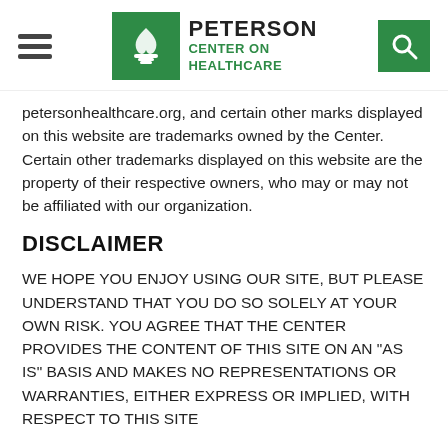[Figure (logo): Peterson Center on Healthcare logo with green icon and text]
petersonhealthcare.org, and certain other marks displayed on this website are trademarks owned by the Center. Certain other trademarks displayed on this website are the property of their respective owners, who may or may not be affiliated with our organization.
DISCLAIMER
WE HOPE YOU ENJOY USING OUR SITE, BUT PLEASE UNDERSTAND THAT YOU DO SO SOLELY AT YOUR OWN RISK. YOU AGREE THAT THE CENTER PROVIDES THE CONTENT OF THIS SITE ON AN "AS IS" BASIS AND MAKES NO REPRESENTATIONS OR WARRANTIES, EITHER EXPRESS OR IMPLIED, WITH RESPECT TO THIS SITE